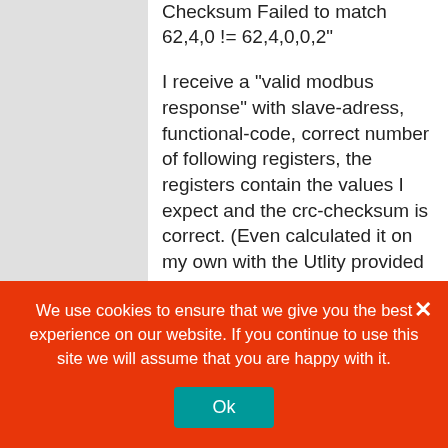Checksum Failed to match 62,4,0 != 62,4,0,0,2"
I receive a "valid modbus response" with slave-adress, functional-code, correct number of following registers, the registers contain the values I expect and the crc-checksum is correct. (Even calculated it on my own with the Utlity provided by NModbus4)
But *somewhere inside the library* (i assume "ModbusMessageImpl"-class), a few bytes of the response get dropped / get lost. And therefore, such exceptions arise. After some hours I was
We use cookies to ensure that we give you the best experience on our website. If you continue to use this site we will assume that you are happy with it.